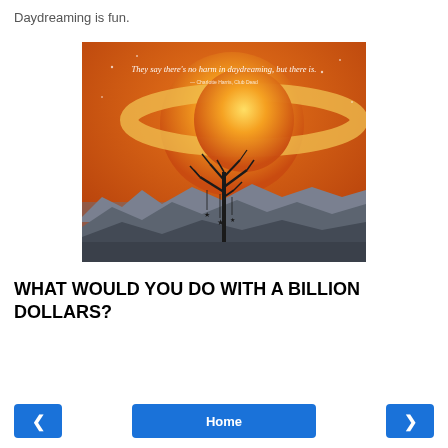Daydreaming is fun.
[Figure (illustration): Illustrated poster with orange/sunset background featuring a large planet with rings (like Saturn), a bare tree silhouetted in the foreground with small stars hanging from its branches, layered dark mountain/city silhouettes at the bottom, and white italic text reading 'They say there's no harm in daydreaming, but there is.' with a smaller attribution line below it.]
WHAT WOULD YOU DO WITH A BILLION DOLLARS?
‹   Home   ›